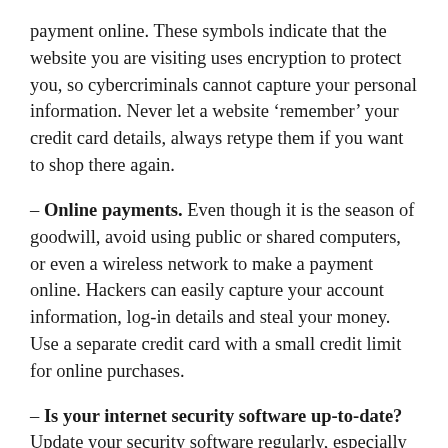payment online. These symbols indicate that the website you are visiting uses encryption to protect you, so cybercriminals cannot capture your personal information. Never let a website ‘remember’ your credit card details, always retype them if you want to shop there again.
– Online payments. Even though it is the season of goodwill, avoid using public or shared computers, or even a wireless network to make a payment online. Hackers can easily capture your account information, log-in details and steal your money. Use a separate credit card with a small credit limit for online purchases.
– Is your internet security software up-to-date? Update your security software regularly, especially during the festive season. Cybercriminals are more sophisticated than ever before and they will jump on any social trend to spread malware and steal your personal details.